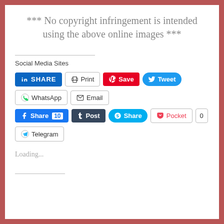*** No copyright infringement is intended using the above online images ***
Social Media Sites
[Figure (screenshot): Social media share buttons: LinkedIn Share, Print, Pinterest Save, Twitter Tweet, WhatsApp, Email, Facebook Share 10, Tumblr Post, Skype Share, Pocket 0, Telegram]
Loading...